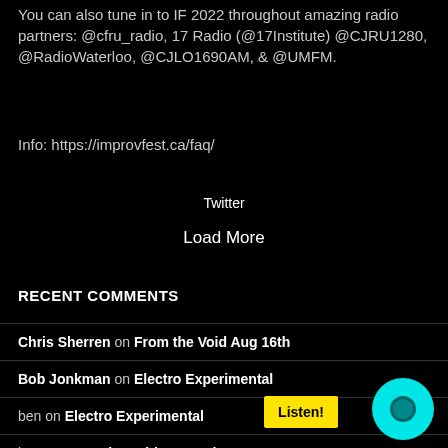You can also tune in to IF 2022 throughout amazing radio partners: @cfru_radio, 17 Radio (@17Institute) @CJRU1280, @RadioWaterloo, @CJLO1690AM, & @UMFM.
Info: https://improvfest.ca/faq/
Twitter
Load More
RECENT COMMENTS
Chris Sherren on From the Void Aug 16th
Bob Jonkman on Electro Experimental
ben on Electro Experimental
ben on From the Void Aug 16th
ImprovFest 2022 | CKMS 102.7 FM on REGGAE PATROL